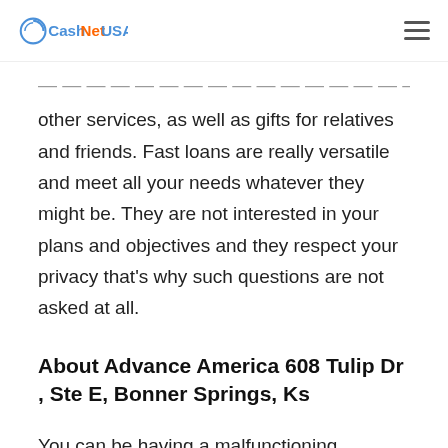CashNetUSA
other services, as well as gifts for relatives and friends. Fast loans are really versatile and meet all your needs whatever they might be. They are not interested in your plans and objectives and they respect your privacy that's why such questions are not asked at all.
About Advance America 608 Tulip Dr , Ste E, Bonner Springs, Ks
You can be having a malfunctioning accessory, or just something that you use daily happens to stop